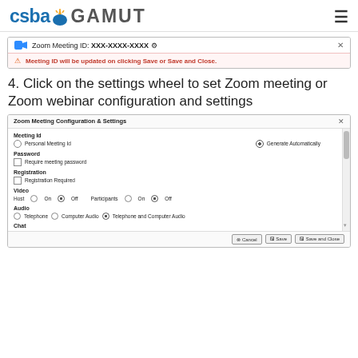CSBA GAMUT
[Figure (screenshot): Zoom Meeting ID bar showing 'XXX-XXXX-XXXX' with a gear icon and close button, with a pink warning message: 'Meeting ID will be updated on clicking Save or Save and Close.']
4. Click on the settings wheel to set Zoom meeting or Zoom webinar configuration and settings
[Figure (screenshot): Zoom Meeting Configuration & Settings dialog with options for Meeting ID (Personal or Generate Automatically), Password (Require meeting password), Registration (Registration Required), Video (Host: On/Off, Participants: On/Off), Audio (Telephone, Computer Audio, Telephone and Computer Audio), Chat section, and buttons: Cancel, Save, Save and Close.]